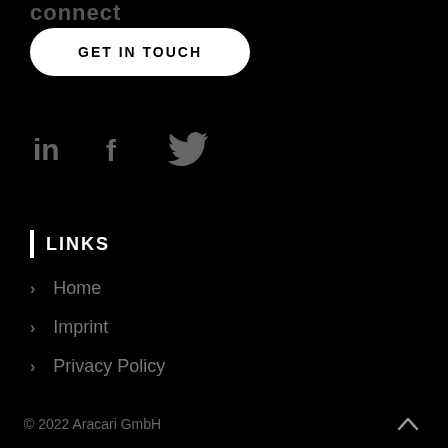connect
GET IN TOUCH
[Figure (illustration): Social media icons: LinkedIn (in), Facebook (f), Twitter (bird)]
LINKS
Home
Imprint
Privacy Policy
© 2022 Aracari GmbH